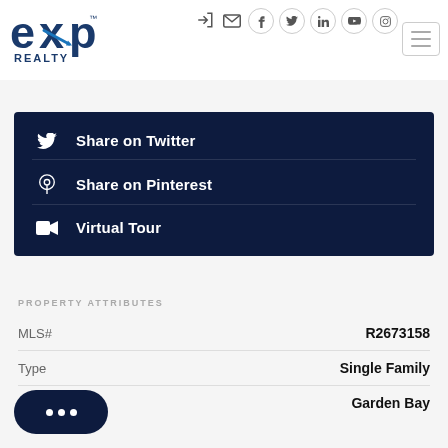[Figure (logo): eXp Realty logo in blue]
Share on Twitter
Share on Pinterest
Virtual Tour
PROPERTY ATTRIBUTES
| Field | Value |
| --- | --- |
| MLS# | R2673158 |
| Type | Single Family |
|  | Garden Bay |